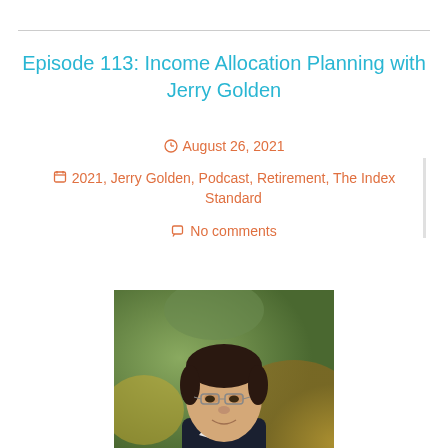Episode 113: Income Allocation Planning with Jerry Golden
August 26, 2021
2021, Jerry Golden, Podcast, Retirement, The Index Standard
No comments
[Figure (photo): Headshot photo of Jerry Golden, a middle-aged man with dark hair and glasses wearing a dark suit, photographed outdoors with a blurred green and gold background.]